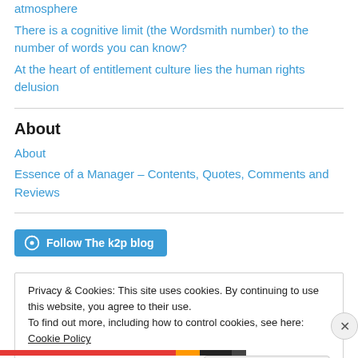atmosphere
There is a cognitive limit (the Wordsmith number) to the number of words you can know?
At the heart of entitlement culture lies the human rights delusion
About
About
Essence of a Manager – Contents, Quotes, Comments and Reviews
Follow The k2p blog
Privacy & Cookies: This site uses cookies. By continuing to use this website, you agree to their use.
To find out more, including how to control cookies, see here: Cookie Policy
Close and accept